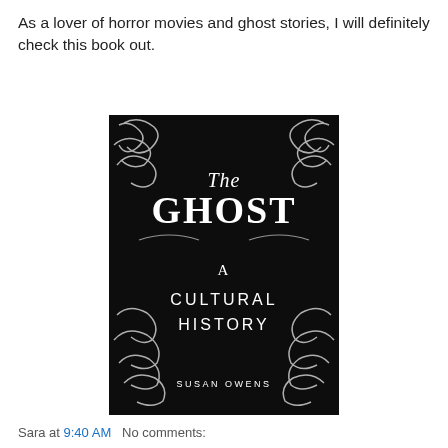As a lover of horror movies and ghost stories, I will definitely check this book out.
[Figure (photo): Book cover of 'The Ghost: A Cultural History' by Susan Owens. Black background with decorative white swirling flourishes and the title text in white.]
Sara at 9:40 AM   No comments: